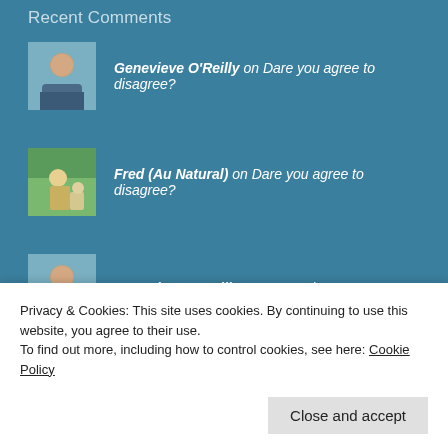Recent Comments
Genevieve O'Reilly on Dare you agree to disagree?
Fred (Au Natural) on Dare you agree to disagree?
Genevieve O'Reilly on Heartache
Brian Lageose on Change
Fred (Au Natural) on Heartache
Privacy & Cookies: This site uses cookies. By continuing to use this website, you agree to their use.
To find out more, including how to control cookies, see here: Cookie Policy
Close and accept